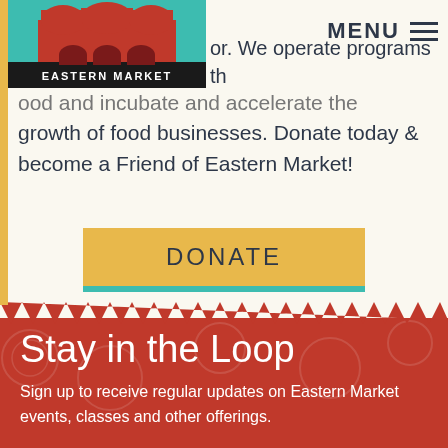[Figure (logo): Eastern Market logo with red building on teal background, 'EASTERN MARKET' text below]
MENU
or. We operate programs that ood and incubate and accelerate the growth of food businesses. Donate today & become a Friend of Eastern Market!
DONATE
Stay in the Loop
Sign up to receive regular updates on Eastern Market events, classes and other offerings.